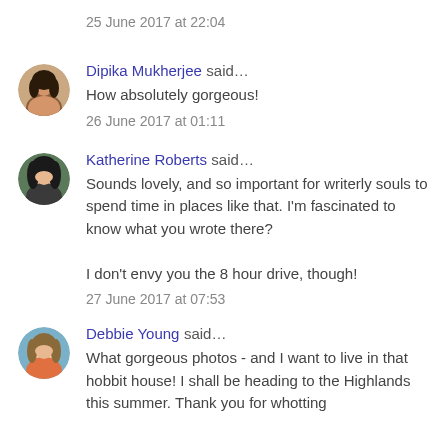25 June 2017 at 22:04
Dipika Mukherjee said…
How absolutely gorgeous!
26 June 2017 at 01:11
Katherine Roberts said…
Sounds lovely, and so important for writerly souls to spend time in places like that. I'm fascinated to know what you wrote there?

I don't envy you the 8 hour drive, though!
27 June 2017 at 07:53
Debbie Young said…
What gorgeous photos - and I want to live in that hobbit house! I shall be heading to the Highlands this summer. Thank you for whotting